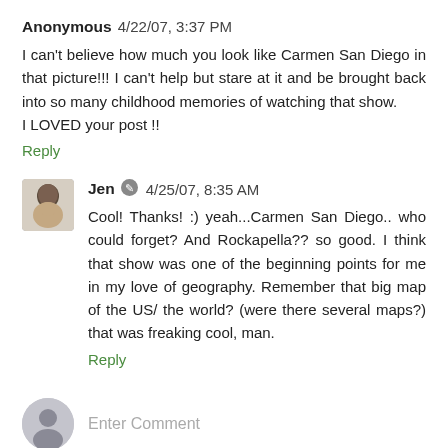Anonymous 4/22/07, 3:37 PM
I can't believe how much you look like Carmen San Diego in that picture!!! I can't help but stare at it and be brought back into so many childhood memories of watching that show.
I LOVED your post !!
Reply
[Figure (photo): Small avatar photo of Jen, a person with short dark hair with hand near face]
Jen 4/25/07, 8:35 AM
Cool! Thanks! :) yeah...Carmen San Diego.. who could forget? And Rockapella?? so good. I think that show was one of the beginning points for me in my love of geography. Remember that big map of the US/ the world? (were there several maps?) that was freaking cool, man.
Reply
[Figure (illustration): Default avatar placeholder icon (grey circle with person silhouette)]
Enter Comment